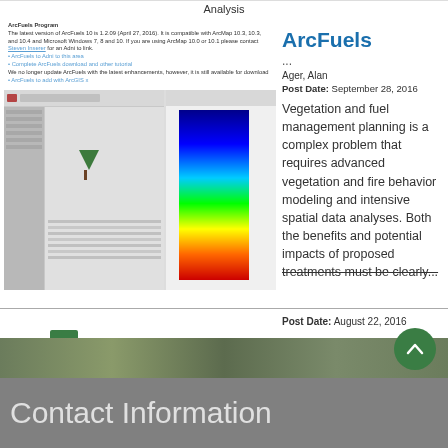Analysis
[Figure (screenshot): Screenshot of ArcFuels program interface showing vegetation maps and heat map visualization]
ArcFuels Program
The latest version of ArcFuels 10 is 1.2.09 (April 27, 2016). It is compatible with ArcMap 10.3, 10.3, and 10.4 and Microsoft Windows 7, 8 and 10. If you are using ArcMap 10.0 or 10.1 please contact Steven Inserer for an Adni to link.
• ArcFuels to Adni to this area
• Complete ArcFuels download and other tutorial
We no longer update ArcFuels with the latest enhancements, however, it is still available for download
• ArcFuels to add with ArcGIS x
ArcFuels
...
Ager, Alan
Post Date:  September 28, 2016
Vegetation and fuel management planning is a complex problem that requires advanced vegetation and fire behavior modeling and intensive spatial data analyses. Both the benefits and potential impacts of proposed treatments must be clearly...
Post Date:  August 22, 2016
1  2  3  4  next ›
Contact Information